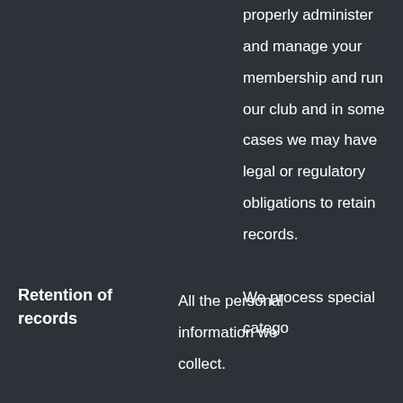properly administer and manage your membership and run our club and in some cases we may have legal or regulatory obligations to retain records.
Retention of records
All the personal information we collect.
We process special category